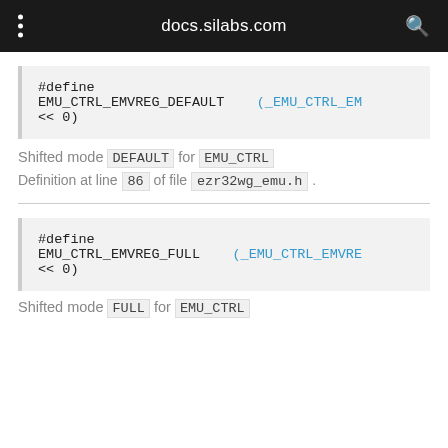docs.silabs.com
#define EMU_CTRL_EMVREG_DEFAULT (_EMU_CTRL_EM << 0)
Shifted mode DEFAULT for EMU_CTRL
Definition at line 86 of file ezr32wg_emu.h .
#define EMU_CTRL_EMVREG_FULL (_EMU_CTRL_EMVRE << 0)
Shifted mode FULL for EMU_CTRL